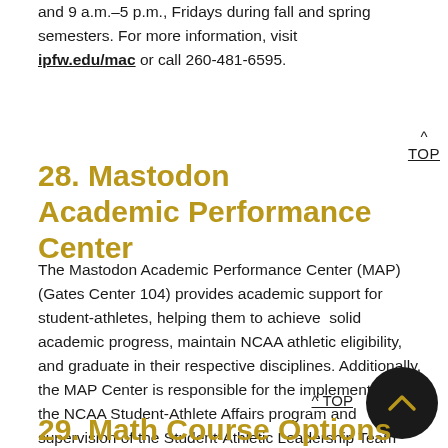and 9 a.m.–5 p.m., Fridays during fall and spring semesters. For more information, visit ipfw.edu/mac or call 260-481-6595.
28. Mastodon Academic Performance Center
The Mastodon Academic Performance Center (MAP) (Gates Center 104) provides academic support for student-athletes, helping them to achieve solid academic progress, maintain NCAA athletic eligibility, and graduate in their respective disciplines. Additionally, the MAP Center is responsible for the implementation of the NCAA Student-Athlete Affairs program and supervision of the Student-Athletic Leadership Team (SALT).
29. Math Course Options